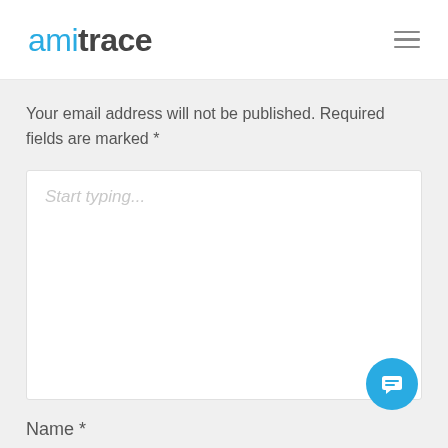amitrace
Your email address will not be published. Required fields are marked *
[Figure (screenshot): Text area input box with placeholder text 'Start typing...']
Name *